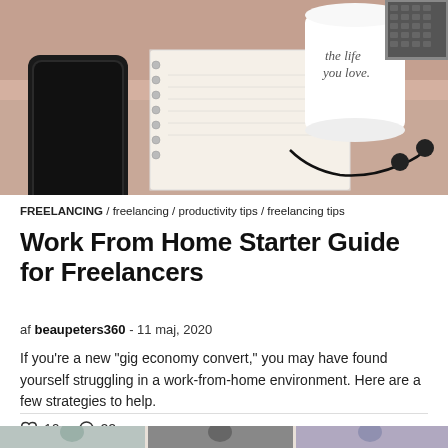[Figure (photo): Lifestyle flat-lay photo showing a smartphone, spiral notebook, white mug with cursive text 'the life you love', earphones, and a laptop on a bed with warm-toned bedding.]
FREELANCING / freelancing / productivity tips / freelancing tips
Work From Home Starter Guide for Freelancers
af beaupeters360 - 11 maj, 2020
If you're a new "gig economy convert," you may have found yourself struggling in a work-from-home environment. Here are a few strategies to help.
♡ 10   ○ 22
[Figure (photo): Partial bottom strip showing cropped thumbnails of additional article images.]